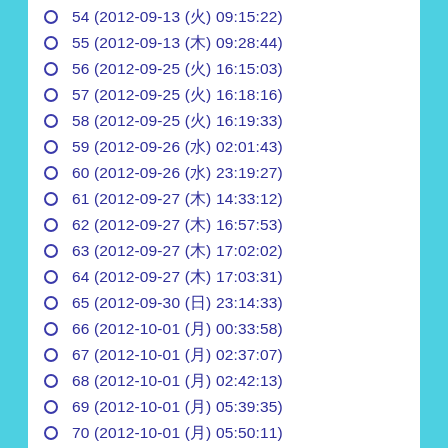54 (2012-09-13 (火) 09:15:22)
55 (2012-09-13 (木) 09:28:44)
56 (2012-09-25 (火) 16:15:03)
57 (2012-09-25 (火) 16:18:16)
58 (2012-09-25 (火) 16:19:33)
59 (2012-09-26 (水) 02:01:43)
60 (2012-09-26 (水) 23:19:27)
61 (2012-09-27 (木) 14:33:12)
62 (2012-09-27 (木) 16:57:53)
63 (2012-09-27 (木) 17:02:02)
64 (2012-09-27 (木) 17:03:31)
65 (2012-09-30 (日) 23:14:33)
66 (2012-10-01 (月) 00:33:58)
67 (2012-10-01 (月) 02:37:07)
68 (2012-10-01 (月) 02:42:13)
69 (2012-10-01 (月) 05:39:35)
70 (2012-10-01 (月) 05:50:11)
71 (2012-10-01 (月) 07:51:03)
72 (2012-10-01 (月) 07:57:54)
73 (2012-10-01 (月) 15:20:03)
74 (2012-10-03 (水) 10:40:50)
75 (2012-10-05 (金) 09:09:09)
76 (2012-10-05 (金) 09:18:19)
77 (2012-10-05 (金) 10:15:52)